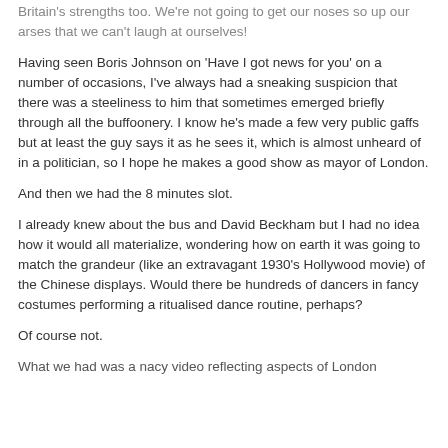Britain's strengths too. We're not going to get our noses so up our arses that we can't laugh at ourselves!
Having seen Boris Johnson on 'Have I got news for you' on a number of occasions, I've always had a sneaking suspicion that there was a steeliness to him that sometimes emerged briefly through all the buffoonery. I know he's made a few very public gaffs but at least the guy says it as he sees it, which is almost unheard of in a politician, so I hope he makes a good show as mayor of London.
And then we had the 8 minutes slot.
I already knew about the bus and David Beckham but I had no idea how it would all materialize, wondering how on earth it was going to match the grandeur (like an extravagant 1930's Hollywood movie) of the Chinese displays. Would there be hundreds of dancers in fancy costumes performing a ritualised dance routine, perhaps?
Of course not.
What we had was a nacy video reflecting aspects of London